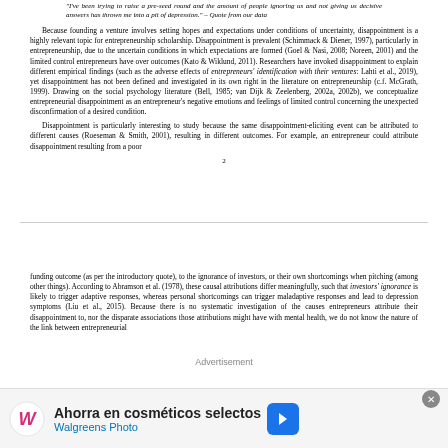"I've been trying to raise a pre-seed round and the amount of people ignoring us and not giving us decisive answers has thrown me into a pit of depression." – Quote from our data
Because founding a venture involves setting hopes and expectations under conditions of uncertainty, disappointment is a highly relevant topic for entrepreneurship scholarship. Disappointment is prevalent (Schimmack & Diener, 1997), particularly in entrepreneurship, due to the uncertain conditions in which expectations are formed (Goel & Nasi, 2008; Noreen, 2001) and the limited control entrepreneurs have over outcomes (Kato & Wiklund, 2011). Researchers have invoked disappointment to explain different empirical findings (such as the adverse effects of entrepreneurs' identification with their ventures: Lahti et al., 2019), yet disappointment has not been defined and investigated in its own right in the literature on entrepreneurship (c.f. McGrath, 1999). Drawing on the social psychology literature (Bell, 1985; van Dijk & Zeelenberg, 2002a, 2002b), we conceptualize entrepreneurial disappointment as an entrepreneur's negative emotions and feelings of limited control concerning the unexpected disconfirmation of a desired condition.
Disappointment is particularly interesting to study because the same disappointment-eliciting event can be attributed to different causes (Roese man & Smith, 2001), resulting in different outcomes. For example, an entrepreneur could attribute disappointment resulting from a poor
2
funding outcome (as per the introductory quote), to the ignorance of investors, or their own shortcomings when pitching (among other things). According to Abramson et al. (1978), these causal attributions differ meaningfully, such that investors' ignorance is likely to trigger adaptive responses, whereas personal shortcomings can trigger maladaptive responses and lead to depression symptoms (Liu et al., 2015). Because there is no systematic investigation of the causes entrepreneurs attribute their disappointment to, nor the disparate associations those attributions might have with mental health, we do not know the nature of the link between entrepreneurial